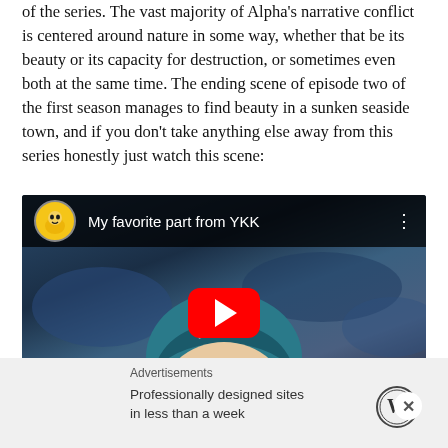of the series. The vast majority of Alpha's narrative conflict is centered around nature in some way, whether that be its beauty or its capacity for destruction, or sometimes even both at the same time. The ending scene of episode two of the first season manages to find beauty in a sunken seaside town, and if you don't take anything else away from this series honestly just watch this scene:
[Figure (screenshot): Embedded YouTube video thumbnail titled 'My favorite part from YKK' showing an anime character with blue hair and large purple eyes looking upward against a dark blue cloudy sky background. A red YouTube play button is centered on the video. A yellow cartoon avatar appears in the top-left corner of the video player.]
Advertisements
Professionally designed sites in less than a week